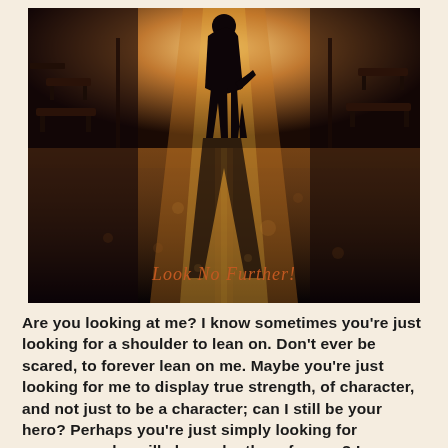[Figure (photo): Sepia-toned romantic photo of a couple silhouetted on a wet, reflective promenade at dusk, with park benches on either side and bright backlight. Text overlay reads 'Look No Further!' in orange script.]
Are you looking at me? I know sometimes you're just looking for a shoulder to lean on. Don't ever be scared, to forever lean on me. Maybe you're just looking for me to display true strength, of character, and not just to be a character; can I still be your hero? Perhaps you're just simply looking for someone, who will always be there for you? I guess you just want me to say what I mean, and mean what I say? It's